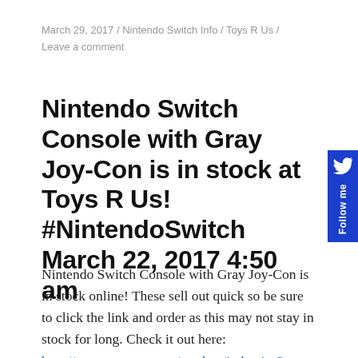March 29, 2017 / Nintendo Switch Info / Toys R Us / Leave a comment
Nintendo Switch Console with Gray Joy-Con is in stock at Toys R Us! #NintendoSwitch March 22, 2017 4:50 am
Nintendo Switch Console with Gray Joy-Con is in stock online! These sell out quick so be sure to click the link and order as this may not stay in stock for long. Check it out here: http://www.toysrus.com/product/index.jsp?